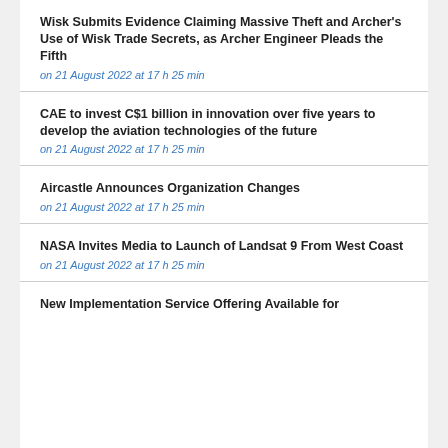Wisk Submits Evidence Claiming Massive Theft and Archer's Use of Wisk Trade Secrets, as Archer Engineer Pleads the Fifth
on 21 August 2022 at 17 h 25 min
CAE to invest C$1 billion in innovation over five years to develop the aviation technologies of the future
on 21 August 2022 at 17 h 25 min
Aircastle Announces Organization Changes
on 21 August 2022 at 17 h 25 min
NASA Invites Media to Launch of Landsat 9 From West Coast
on 21 August 2022 at 17 h 25 min
New Implementation Service Offering Available for